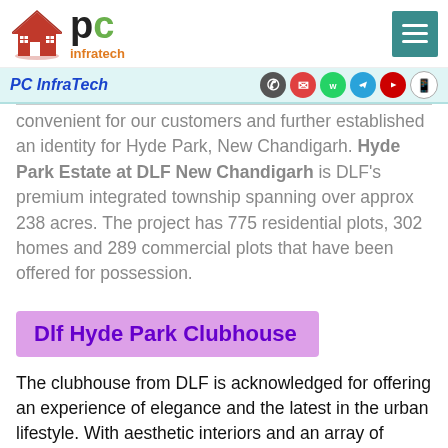[Figure (logo): PC Infratech logo with red house icon and green/black PC text with orange infratech label]
PC InfraTech
convenient for our customers and further established an identity for Hyde Park, New Chandigarh. Hyde Park Estate at DLF New Chandigarh is DLF's premium integrated township spanning over approx 238 acres. The project has 775 residential plots, 302 homes and 289 commercial plots that have been offered for possession.
Dlf Hyde Park Clubhouse
The clubhouse from DLF is acknowledged for offering an experience of elegance and the latest in the urban lifestyle. With aesthetic interiors and an array of facilities, the DLF Clubhouse at Hyde Park will set a new benchmark in the region. It is proposed to be spread over an approximate area